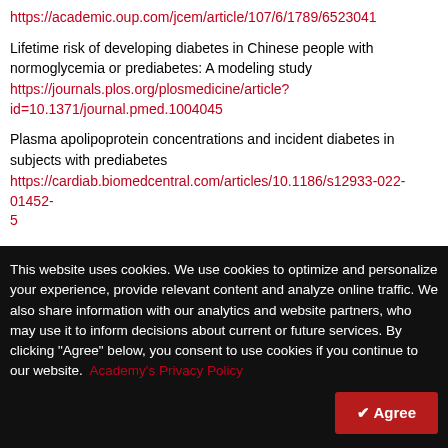https://academic.oup.com/jcem/article/107/6/1789/6523041
Lifetime risk of developing diabetes in Chinese people with normoglycemia or prediabetes: A modeling study
https://journals.plos.org/plosmedicine/article?id=10.1371/journal.pmed.1004045
Plasma apolipoprotein concentrations and incident diabetes in subjects with prediabetes
https://cardiab.biomedcentral.com/articles/10.1186/s12933-022-01452-5
Type 1 Diabetes
This website uses cookies. We use cookies to optimize and personalize your experience, provide relevant content and analyze online traffic. We also share information with our analytics and website partners, who may use it to inform decisions about current or future services. By clicking "Agree" below, you consent to use cookies if you continue to our website. Academy's Privacy Policy